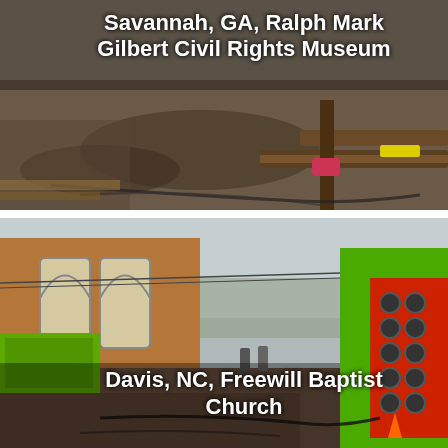[Figure (photo): Construction site with steel beams and muddy ground, aerial view.]
Savannah, GA, Ralph Mark Gilbert Civil Rights Museum
[Figure (photo): A brick church building being lifted or moved with heavy green and red hydraulic lifting equipment on a muddy site.]
Davis, NC, Freewill Baptist Church